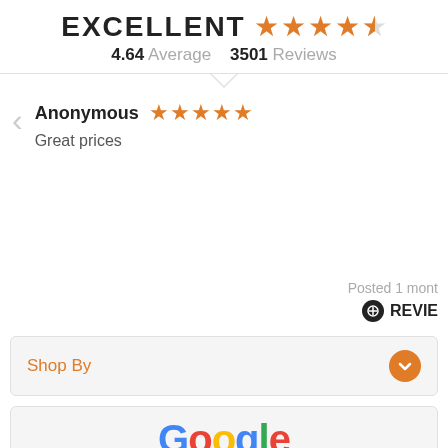EXCELLENT ★★★★☆ 4.64 Average 3501 Reviews
Anonymous ★★★★★ Great prices
Posted 1 mont
REVIE
Shop By
[Figure (logo): Google logo in multicolor letters]